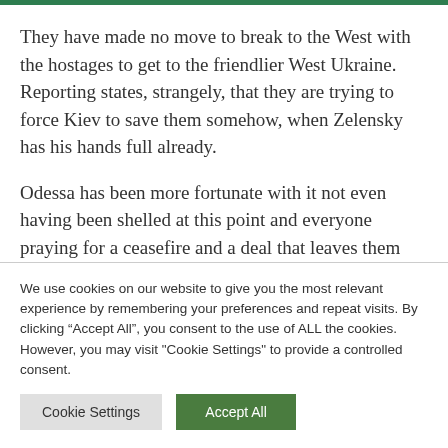They have made no move to break to the West with the hostages to get to the friendlier West Ukraine. Reporting states, strangely, that they are trying to force Kiev to save them somehow, when Zelensky has his hands full already.
Odessa has been more fortunate with it not even having been shelled at this point and everyone praying for a ceasefire and a deal that leaves them with the city intact. The Russians would prefer
We use cookies on our website to give you the most relevant experience by remembering your preferences and repeat visits. By clicking “Accept All”, you consent to the use of ALL the cookies. However, you may visit "Cookie Settings" to provide a controlled consent.